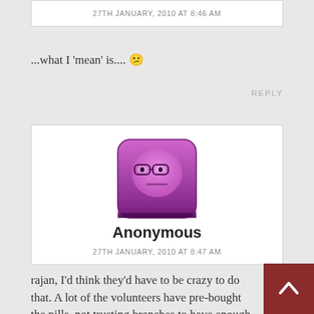27TH JANUARY, 2010 AT 8:46 AM
...what I 'mean' is.... 😕
REPLY
[Figure (illustration): Purple cartoon avatar face with glasses and neutral expression on a purple rounded square background]
Anonymous
27TH JANUARY, 2010 AT 8:47 AM
rajan, I'd think they'd have to be crazy to do that. A lot of the volunteers have pre-bought the pills, not trusting branches to have enough stock. Furthermore, even if buying on the day, how would Boots seperate the